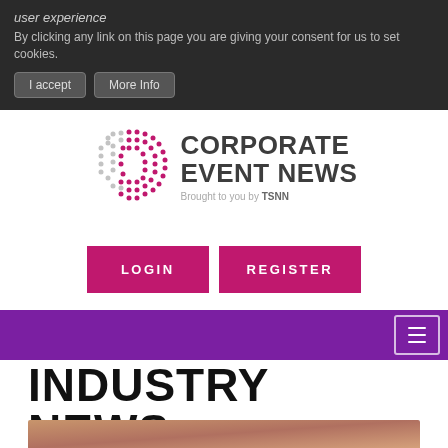user experience
By clicking any link on this page you are giving your consent for us to set cookies.
I accept | More Info
[Figure (logo): Corporate Event News logo with dot-grid circular icon and text 'CORPORATE EVENT NEWS Brought to you by TSNN']
LOGIN
REGISTER
[Figure (other): Purple navigation bar with hamburger menu button]
INDUSTRY NEWS
[Figure (photo): Partial photo showing person with arms raised, holding pink item, warm skin tones]